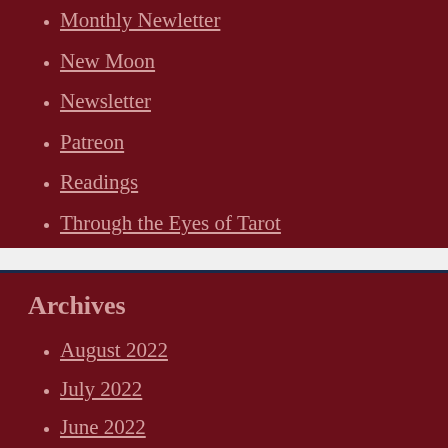Monthly Newsletter
New Moon
Newsletter
Patreon
Readings
Through the Eyes of Tarot
Weekly Tarot Guidance
YouTube Videos
Archives
August 2022
July 2022
June 2022
May 2022